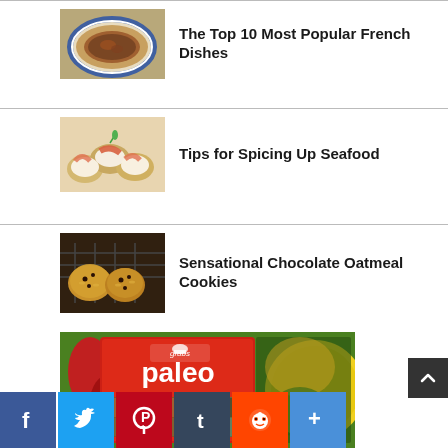[Figure (photo): French dish on a decorative blue and white plate]
The Top 10 Most Popular French Dishes
[Figure (photo): Smoked salmon on cream cheese crackers with garnish]
Tips for Spicing Up Seafood
[Figure (photo): Chocolate oatmeal cookies on a cooling rack]
Sensational Chocolate Oatmeal Cookies
[Figure (photo): Paleo cookbook cover with various food photos and fruits in background]
[Figure (infographic): Social media share icons: Facebook, Twitter, Pinterest, Tumblr, Reddit, More]